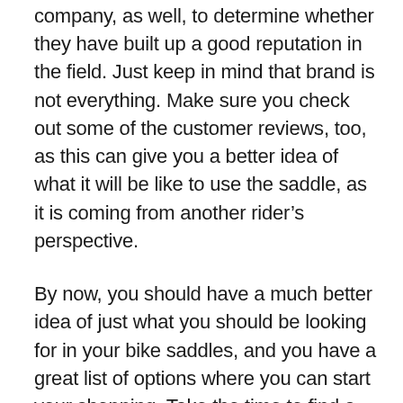company, as well, to determine whether they have built up a good reputation in the field. Just keep in mind that brand is not everything. Make sure you check out some of the customer reviews, too, as this can give you a better idea of what it will be like to use the saddle, as it is coming from another rider's perspective.
By now, you should have a much better idea of just what you should be looking for in your bike saddles, and you have a great list of options where you can start your shopping. Take the time to find a bike saddle that will work well for your needs, no matter where or how you ride.